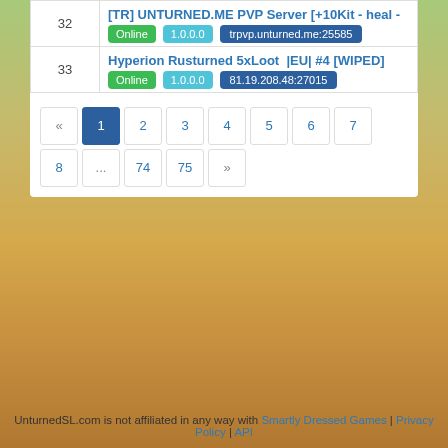| # | Server |
| --- | --- |
| 32 | [TR] UNTURNED.ME PVP Server [+10Kit - heal - | Online | 1.0.0.0 | trpvp.unturned.me:25585 |
| 33 | Hyperion Rusturned 5xLoot |EU| #4 [WIPED] | Online | 1.0.0.0 | 81.19.208.48:27015 |
Pagination: « 1 2 3 4 5 6 7 8 ... 74 75 »
UnturnedSL.com is not affiliated in any way with Smartly Dressed Games | Privacy Policy | API